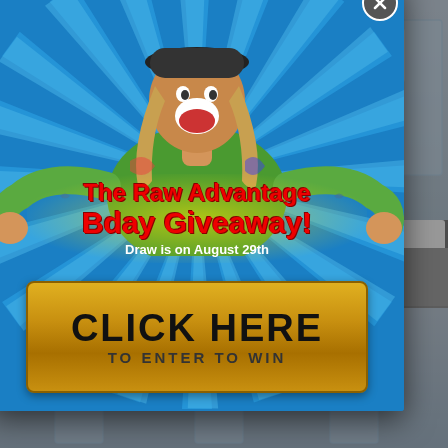[Figure (screenshot): Background webpage showing water glasses images, blog post titled 'Day's 7, 8 and 9' with water-fast content, and a second blog post section partially visible. A popup modal overlays the page showing 'The Raw Advantage Bday Giveaway!' with a person in colorful tattoo shirt, sunburst background, and a golden 'CLICK HERE TO ENTER TO WIN' button. Draw is on August 29th.]
Day's 7, 8 and 9
WATE...
Jul 30, ...
Todays... and then go...
READ...
Chr... ...ting
The Raw Advantage Bday Giveaway!
Draw is on August 29th
CLICK HERE TO ENTER TO WIN